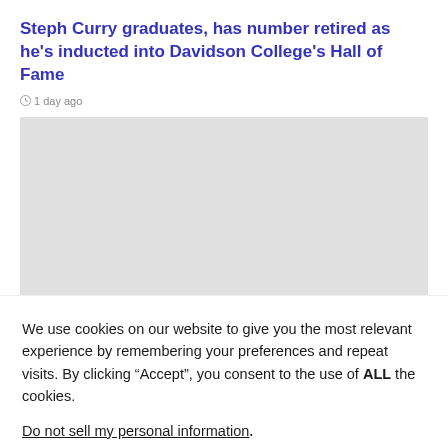Steph Curry graduates, has number retired as he's inducted into Davidson College's Hall of Fame
1 day ago
[Figure (photo): Gray placeholder image for article photo]
We use cookies on our website to give you the most relevant experience by remembering your preferences and repeat visits. By clicking “Accept”, you consent to the use of ALL the cookies.
Do not sell my personal information.
Cookie Settings
Accept